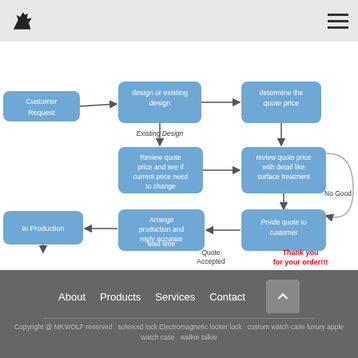MKWOLF logo and navigation menu
[Figure (flowchart): Business process flowchart showing order/production workflow: Customer Request -> design or existing design -> determine the quote price -> review quote price with detail like surface treatment (No Good loop back) -> Review quote price and see if current price need to change -> Prvide quote to customer -> Quote Accepted -> Arrange production and reply accurate lead time -> In Production -> Finish Production, pass to QC station -> Pass QC, packing item with proper method -> Deliver to customer with designated method. 'Thank you for your order!!!' in red.]
About  Products  Services  Contact  Copyright @ MKWOLF reserved  solenoid lock Electromagnetic locker lock  custom watch case luxury apple watch case  walkie talkie